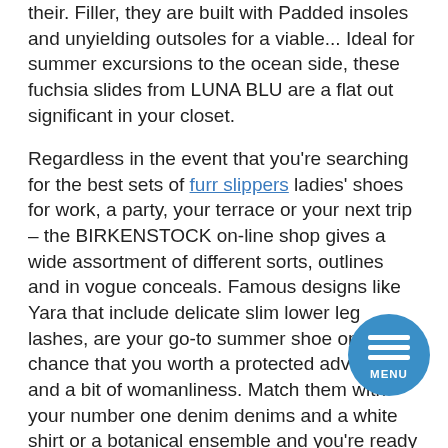their. Filler, they are built with Padded insoles and unyielding outsoles for a viable... Ideal for summer excursions to the ocean side, these fuchsia slides from LUNA BLU are a flat out significant in your closet.
Regardless in the event that you're searching for the best sets of furr slippers ladies' shoes for work, a party, your terrace or your next trip – the BIRKENSTOCK on-line shop gives a wide assortment of different sorts, outlines and in vogue conceals. Famous designs like Yara that include delicate slim lower leg lashes, are your go-to summer shoe on the off chance that you worth a protected advance and a bit of womanliness. Match them with your number one denim denims and a white shirt or a botanical ensemble and you're ready for lighthearted fun in the sun. Assuming you're enthusiastic on investing your down energy by the poolside, lake or ocean side into BIRKENSTOCK's thoroughly waterproof ladies' shoes, which are an accumulation of the best open is in...